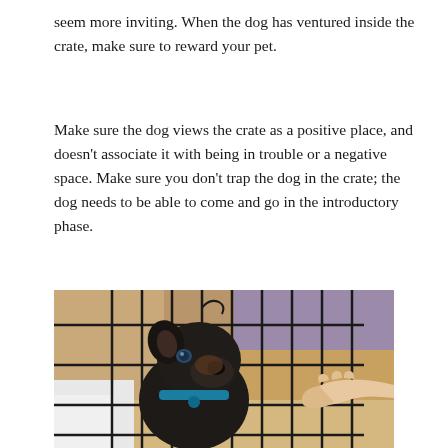seem more inviting. When the dog has ventured inside the crate, make sure to reward your pet.
Make sure the dog views the crate as a positive place, and doesn't associate it with being in trouble or a negative space. Make sure you don't trap the dog in the crate; the dog needs to be able to come and go in the introductory phase.
[Figure (photo): A dark-colored puppy with a blue collar inside a wire crate, looking out while a human hand reaches toward it through the bars.]